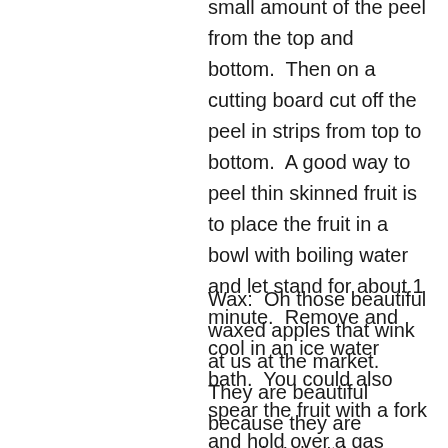small amount of the peel from the top and bottom.  Then on a cutting board cut off the peel in strips from top to bottom.  A good way to peel thin skinned fruit is to place the fruit in a bowl with boiling water and let stand for about 1 minute.  Remove and cool in an ice water bath.  You could also spear the fruit with a fork and hold over a gas flame until the skin cracks OR quarter the fruit and peel with a sharp paring knife or potato peeler.
Wax:  Oh those beautiful waxed apples that wink at us at the market.  They are beautiful because they are waxed.  I don't know about you, but I would